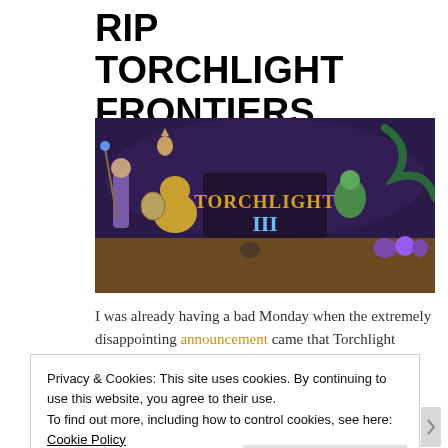RIP TORCHLIGHT FRONTIERS
[Figure (illustration): Torchlight III game promotional banner showing fantasy characters including a mage, an archer, monsters, and a dragon-like creature, with the 'Torchlight III' logo in golden text in the center]
I was already having a bad Monday when the extremely disappointing announcement came that Torchlight Frontiers was becoming Torchlight III and gutting its
Privacy & Cookies: This site uses cookies. By continuing to use this website, you agree to their use.
To find out more, including how to control cookies, see here: Cookie Policy
Close and accept